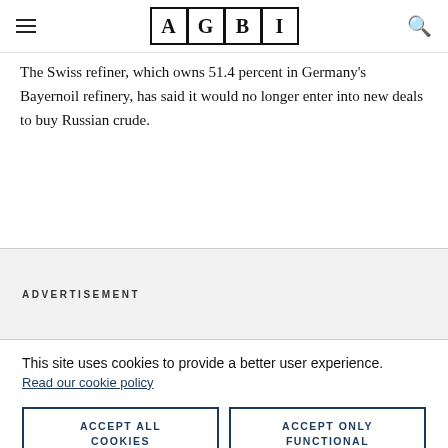AGBI
The Swiss refiner, which owns 51.4 percent in Germany's Bayernoil refinery, has said it would no longer enter into new deals to buy Russian crude.
ADVERTISEMENT
RELATED TOPICS:
ENERGY
This site uses cookies to provide a better user experience.
Read our cookie policy
ACCEPT ALL COOKIES
ACCEPT ONLY FUNCTIONAL COOKIES